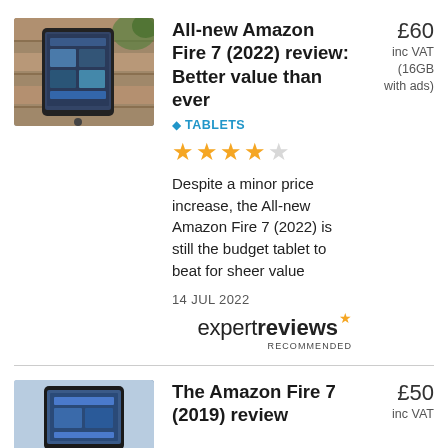[Figure (photo): Amazon Fire 7 tablet resting on wooden surface with green plants behind]
All-new Amazon Fire 7 (2022) review: Better value than ever
£60 inc VAT (16GB with ads)
TABLETS
4 out of 5 stars
Despite a minor price increase, the All-new Amazon Fire 7 (2022) is still the budget tablet to beat for sheer value
14 JUL 2022
[Figure (logo): Expert Reviews Recommended logo with star]
[Figure (photo): Amazon Fire 7 (2019) tablet]
The Amazon Fire 7 (2019) review
£50 inc VAT